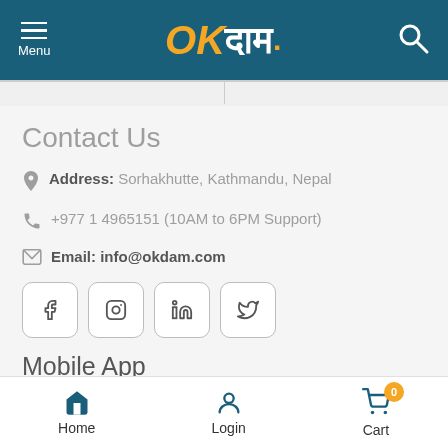OKदाम। — Menu / Search header bar
Contact Us
Address: Sorhakhutte, Kathmandu, Nepal
+977 1 4965151 (10AM to 6PM Support)
Email: info@okdam.com
[Figure (screenshot): Social media icon buttons: Facebook, Instagram, LinkedIn, Twitter]
Mobile App
Experience OkDam App on Mobile
[Figure (screenshot): GET IT ON Google Play button (black rounded rectangle)]
Home | Login | Cart (badge: 0)